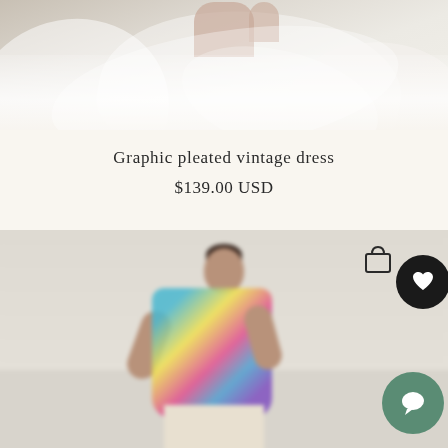[Figure (photo): Top portion of a fashion product photo showing a model lying on white bedding/fabric, only feet and draped white fabric visible]
Graphic pleated vintage dress
$139.00 USD
[Figure (photo): Fashion product photo of a woman wearing a colorful graphic pleated vintage dress with multicolor pattern (teal, yellow, pink, blue, purple), posing against a light neutral background. Shopping bag icon and heart/wishlist button visible in top right. Green chat bubble icon in bottom right.]